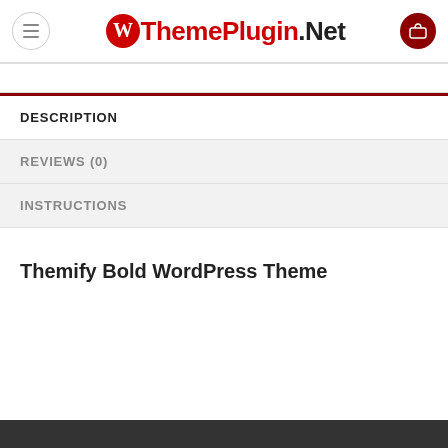ThemePlugin.Net
DESCRIPTION
REVIEWS (0)
INSTRUCTIONS
Themify Bold WordPress Theme